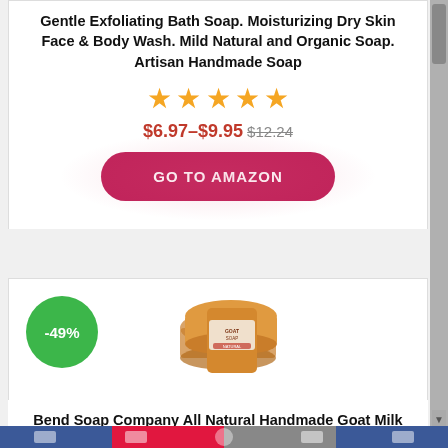Gentle Exfoliating Bath Soap. Moisturizing Dry Skin Face & Body Wash. Mild Natural and Organic Soap. Artisan Handmade Soap
[Figure (other): Five orange/gold star rating icons]
$6.97–$9.95 $12.24
[Figure (other): GO TO AMAZON button — rounded pill shape, dark pink/magenta background, white uppercase text]
[Figure (other): -49% discount badge (green circle) and product image of Bend Soap Company goat milk soap bars]
Bend Soap Company All Natural Handmade Goat Milk Soap for Dry Skin Relief, All Shield...